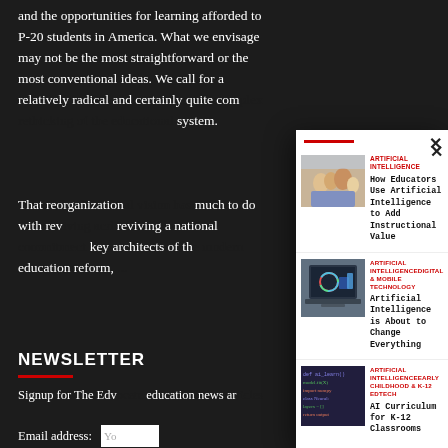and the opportunities for learning afforded to P-20 students in America. What we envisage may not be the most straightforward or the most conventional ideas. We call for a relatively radical and certainly quite com... system.
That reorganization... much to do with rev... reviving a national... key architects of th... education reform, ...
NEWSLETTER
Signup for The Edv... education news ar...
Email address: Your email address
[Figure (screenshot): Modal overlay popup on a dark-background page showing three article cards. Close button (×) in top right. Red horizontal bar at top. Three articles each with a thumbnail image on left and category tags plus title on right. Articles: 1) ARTIFICIAL INTELLIGENCE - How Educators Use Artificial Intelligence to Add Instructional Value (photo of students); 2) ARTIFICIAL INTELLIGENCEDIGITAL & MOBILE TECHNOLOGY - Artificial Intelligence is About to Change Everything (laptop with charts); 3) ARTIFICIAL INTELLIGENCEEARLY CHILDHOOD & K-12 EDTECH - AI Curriculum for K-12 Classrooms (code on screen).]